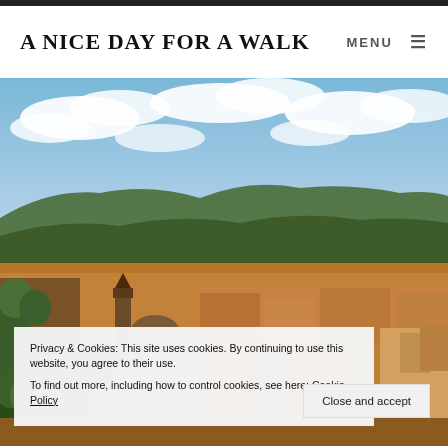A NICE DAY FOR A WALK   MENU ☰
[Figure (photo): Aerial panoramic view of a European city (Le Puy-en-Velay, France) with terracotta rooftops, a cathedral with dome and bell tower in the foreground, green hills and mountains in the background, and a partly cloudy blue sky.]
Privacy & Cookies: This site uses cookies. By continuing to use this website, you agree to their use.
To find out more, including how to control cookies, see here: Cookie Policy
Close and accept